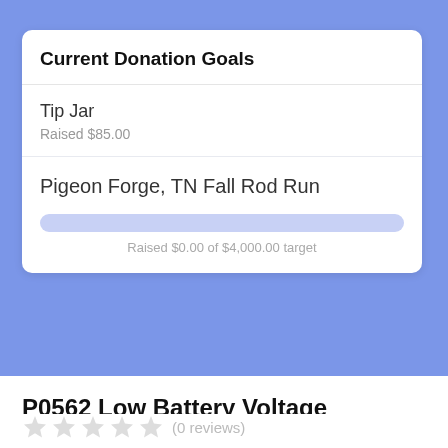Current Donation Goals
Tip Jar
Raised $85.00
Pigeon Forge, TN Fall Rod Run
Raised $0.00 of $4,000.00 target
P0562 Low Battery Voltage
(0 reviews)